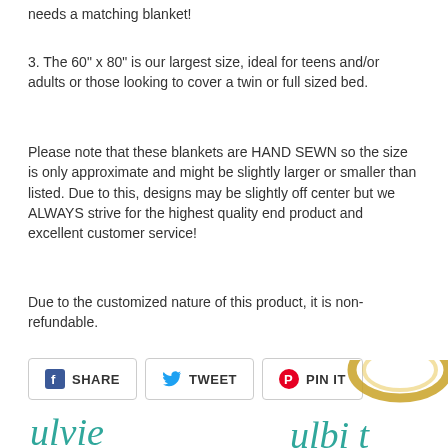needs a matching blanket!
3. The 60" x 80" is our largest size, ideal for teens and/or adults or those looking to cover a twin or full sized bed.
Please note that these blankets are HAND SEWN so the size is only approximate and might be slightly larger or smaller than listed. Due to this, designs may be slightly off center but we ALWAYS strive for the highest quality end product and excellent customer service!
Due to the customized nature of this product, it is non-refundable.
[Figure (other): Social share buttons: Facebook SHARE, Twitter TWEET, Pinterest PIN IT]
[Figure (illustration): Partial decorative cursive text and gold circular element at bottom of page]